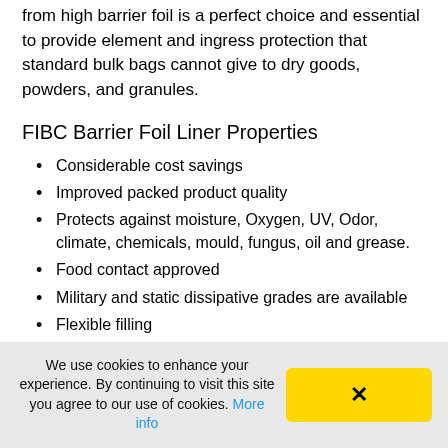from high barrier foil is a perfect choice and essential to provide element and ingress protection that standard bulk bags cannot give to dry goods, powders, and granules.
FIBC Barrier Foil Liner Properties
Considerable cost savings
Improved packed product quality
Protects against moisture, Oxygen, UV, Odor, climate, chemicals, mould, fungus, oil and grease.
Food contact approved
Military and static dissipative grades are available
Flexible filling
We use cookies to enhance your experience. By continuing to visit this site you agree to our use of cookies. More info